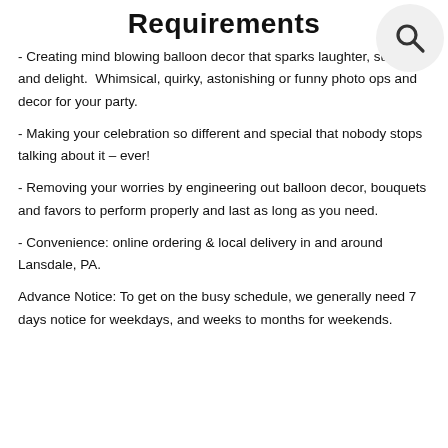Requirements
- Creating mind blowing balloon decor that sparks laughter, surprise and delight.  Whimsical, quirky, astonishing or funny photo ops and decor for your party.
- Making your celebration so different and special that nobody stops talking about it – ever!
- Removing your worries by engineering out balloon decor, bouquets and favors to perform properly and last as long as you need.
- Convenience: online ordering & local delivery in and around Lansdale, PA.
Advance Notice: To get on the busy schedule, we generally need 7 days notice for weekdays, and weeks to months for weekends.